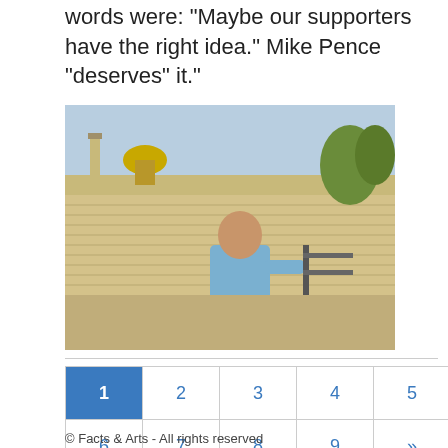words were: “Maybe our supporters have the right idea.” Mike Pence “deserves” it."
[Figure (photo): A man in a light blue shirt standing in front of a view of Jerusalem, with the Dome of the Rock visible in the background.]
1 2 3 4 5 6 7 8 9 » Last »
© Facts & Arts - All rights reserved